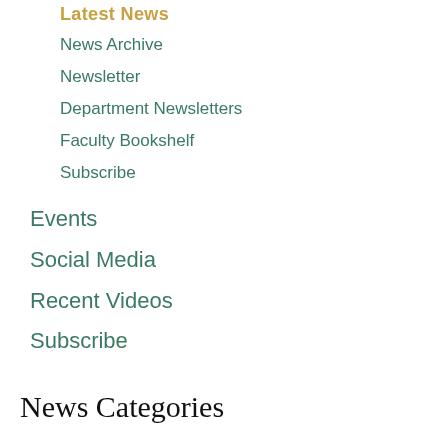Latest News
News Archive
Newsletter
Department Newsletters
Faculty Bookshelf
Subscribe
Events
Social Media
Recent Videos
Subscribe
News Categories